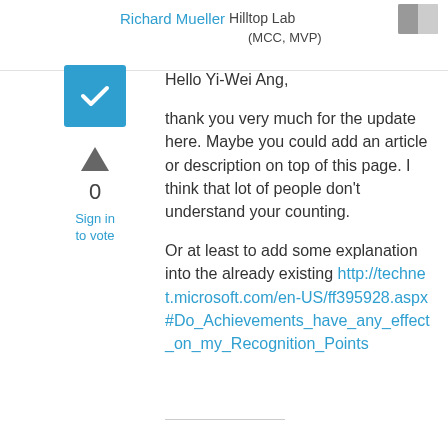Richard Mueller  Hilltop Lab (MCC, MVP)
[Figure (other): Blue checkbox icon with white checkmark]
[Figure (other): Upward triangle/arrow icon for voting]
0
Sign in to vote
Hello Yi-Wei Ang,

thank you very much for the update here. Maybe you could add an article or description on top of this page. I think that lot of people don't understand your counting.

Or at least to add some explanation into the already existing http://technet.microsoft.com/en-US/ff395928.aspx#Do_Achievements_have_any_effect_on_my_Recognition_Points